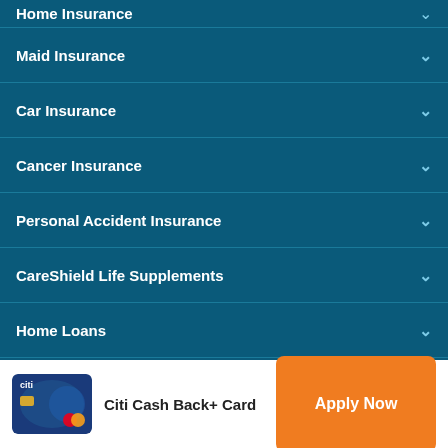Home Insurance
Maid Insurance
Car Insurance
Cancer Insurance
Personal Accident Insurance
CareShield Life Supplements
Home Loans
Bank Accounts
Telco
[Figure (other): Citi Cash Back+ Card advertisement banner with card image and Apply Now button]